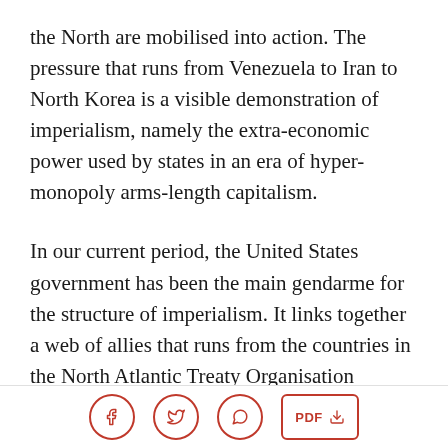the North are mobilised into action. The pressure that runs from Venezuela to Iran to North Korea is a visible demonstration of imperialism, namely the extra-economic power used by states in an era of hyper-monopoly arms-length capitalism.
In our current period, the United States government has been the main gendarme for the structure of imperialism. It links together a web of allies that runs from the countries in the North Atlantic Treaty Organisation (NATO) and goes outwards to important regional allies such as Saudi Arabia, India and Colombia. The United States –
[social share icons: Facebook, Twitter, WhatsApp] [PDF download button]